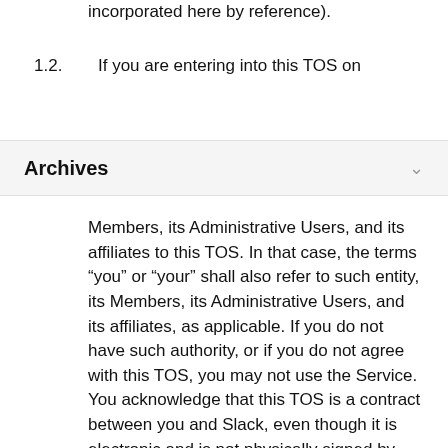incorporated here by reference).
1.2.  If you are entering into this TOS on
Archives
Members, its Administrative Users, and its affiliates to this TOS. In that case, the terms “you” or “your” shall also refer to such entity, its Members, its Administrative Users, and its affiliates, as applicable. If you do not have such authority, or if you do not agree with this TOS, you may not use the Service. You acknowledge that this TOS is a contract between you and Slack, even though it is electronic and is not physically signed by you and Slack, and it governs your